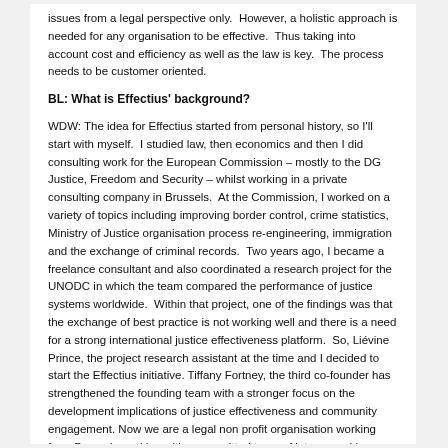issues from a legal perspective only.  However, a holistic approach is needed for any organisation to be effective.  Thus taking into account cost and efficiency as well as the law is key.  The process needs to be customer oriented.
BL: What is Effectius' background?
WDW: The idea for Effectius started from personal history, so I'll start with myself.  I studied law, then economics and then I did consulting work for the European Commission – mostly to the DG Justice, Freedom and Security – whilst working in a private consulting company in Brussels.  At the Commission, I worked on a variety of topics including improving border control, crime statistics, Ministry of Justice organisation process re-engineering, immigration and the exchange of criminal records.  Two years ago, I became a freelance consultant and also coordinated a research project for the UNODC in which the team compared the performance of justice systems worldwide.  Within that project, one of the findings was that the exchange of best practice is not working well and there is a need for a strong international justice effectiveness platform.  So, Liévine Prince, the project research assistant at the time and I decided to start the Effectius initiative. Tiffany Fortney, the third co-founder has strengthened the founding team with a stronger focus on the development implications of justice effectiveness and community engagement. Now we are a legal non profit organisation working from Brussels working with a committed team of interns and longer term